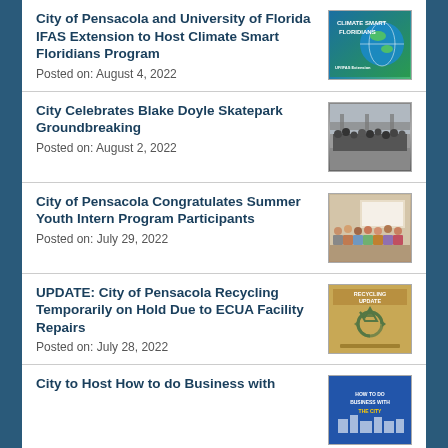City of Pensacola and University of Florida IFAS Extension to Host Climate Smart Floridians Program
Posted on: August 4, 2022
[Figure (illustration): Climate Smart Floridians program logo with globe graphic]
City Celebrates Blake Doyle Skatepark Groundbreaking
Posted on: August 2, 2022
[Figure (photo): Group photo of people at skatepark groundbreaking event under a bridge]
City of Pensacola Congratulates Summer Youth Intern Program Participants
Posted on: July 29, 2022
[Figure (photo): Group photo of summer youth intern program participants indoors]
UPDATE: City of Pensacola Recycling Temporarily on Hold Due to ECUA Facility Repairs
Posted on: July 28, 2022
[Figure (illustration): Recycling Update graphic with recycling symbol on tan/brown background]
City to Host How to do Business with
[Figure (illustration): How to Do Business with the City graphic on blue background]